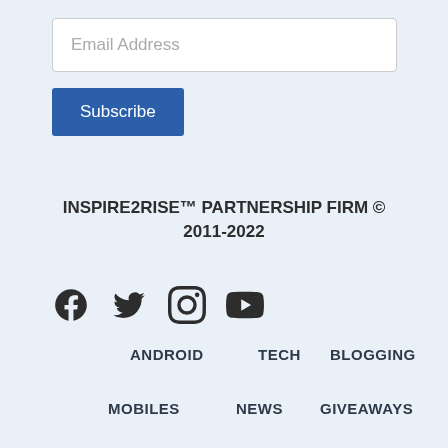Email Address
Subscribe
INSPIRE2RISE™ PARTNERSHIP FIRM © 2011-2022
[Figure (infographic): Social media icons: Facebook, Twitter, Instagram, YouTube]
ANDROID
TECH
BLOGGING
MOBILES
NEWS
GIVEAWAYS